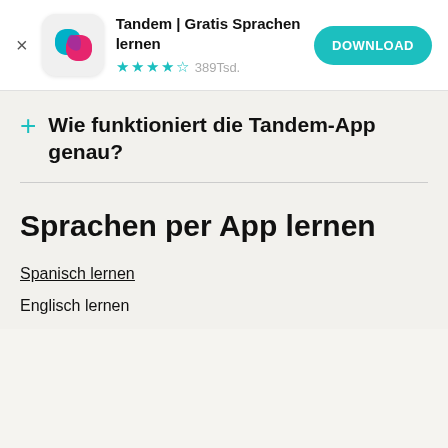[Figure (screenshot): App store banner for Tandem app with icon, name, star rating, and download button]
+ Wie funktioniert die Tandem-App genau?
Sprachen per App lernen
Spanisch lernen
Englisch lernen